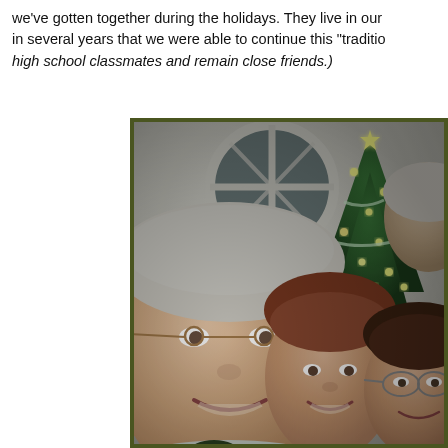we've gotten together during the holidays. They live in our area and it's been in several years that we were able to continue this "traditio... (high school classmates and remain close friends.)
[Figure (photo): Holiday photo of a group of people including an older man with glasses on the left, a woman with short reddish-brown hair in the center, a woman with dark hair and glasses on the right, and a partial view of another person's head at the top right. A decorated Christmas tree with lights is visible in the background, along with a large round window.]